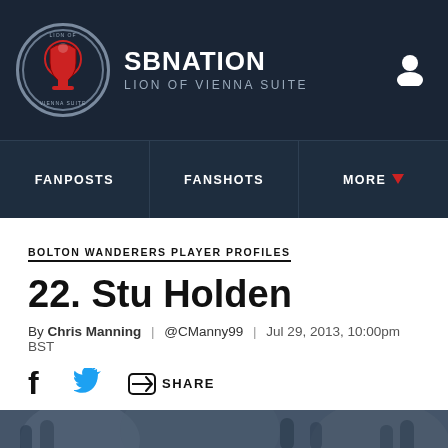SBNATION / LION OF VIENNA SUITE
FANPOSTS | FANSHOTS | MORE
BOLTON WANDERERS PLAYER PROFILES
22. Stu Holden
By Chris Manning | @CManny99 | Jul 29, 2013, 10:00pm BST
SHARE
[Figure (photo): Photo of players on a football pitch, crowd visible in background, blurred/dark tones]